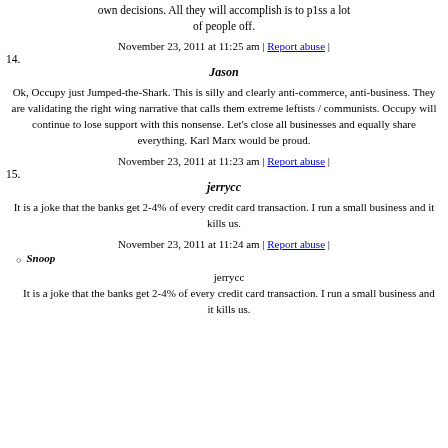own decisions. All they will accomplish is to p1ss a lot of people off.
November 23, 2011 at 11:25 am | Report abuse |
14. Jason
Ok, Occupy just Jumped-the-Shark. This is silly and clearly anti-commerce, anti-business. They are validating the right wing narrative that calls them extreme leftists / communists. Occupy will continue to lose support with this nonsense. Let's close all businesses and equally share everything. Karl Marx would be proud.
November 23, 2011 at 11:23 am | Report abuse |
15. jerrycc
It is a joke that the banks get 2-4% of every credit card transaction. I run a small business and it kills us.
November 23, 2011 at 11:24 am | Report abuse |
Snoop
jerrycc
It is a joke that the banks get 2-4% of every credit card transaction. I run a small business and it kills us.